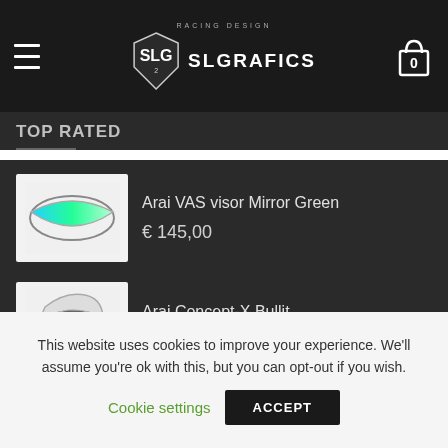SL GRAFICS - Racing Design
TOP RATED
Arai VAS visor Mirror Green
€ 145,00
Arai Concept-X Bullit
€ 999,00
Arai RX-7evo / Chaser-X Yamaha 2
€ 999,00 – € 1.349,00
This website uses cookies to improve your experience. We'll assume you're ok with this, but you can opt-out if you wish.
Cookie settings   ACCEPT